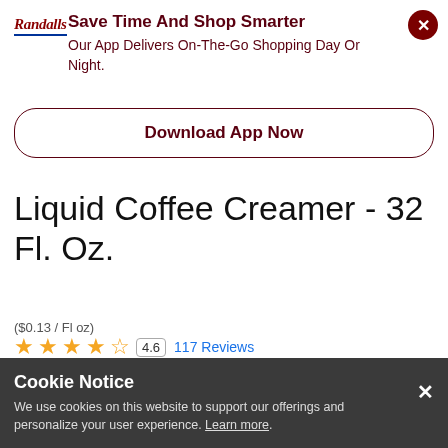[Figure (logo): Randalls logo in red italic text with blue underline]
Save Time And Shop Smarter
Our App Delivers On-The-Go Shopping Day Or Night.
Download App Now
Liquid Coffee Creamer - 32 Fl. Oz.
($0.13 / Fl oz)
4.6  117 Reviews
89% of respondents would recommend this to a friend
$4.29 / ea
Shopping Options for 77024  Change ZIP
Cookie Notice
We use cookies on this website to support our offerings and personalize your user experience. Learn more.